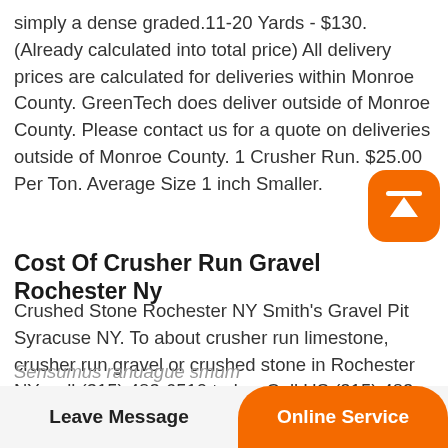simply a dense graded.11-20 Yards - $130. (Already calculated into total price) All delivery prices are calculated for deliveries within Monroe County. GreenTech does deliver outside of Monroe County. Please contact us for a quote on deliveries outside of Monroe County. 1 Crusher Run. $25.00 Per Ton. Average Size 1 inch Smaller.
Cost Of Crusher Run Gravel Rochester Ny
Crushed Stone Rochester NY Smith's Gravel Pit Syracuse NY. To about crusher run limestone, crusher run gravel or crushed stone in Rochester NY, call (315) 483-6510 today. Call US (315) 483-6510 Construction landscaping materials delivered to the greater
Sensumus ranuague smum